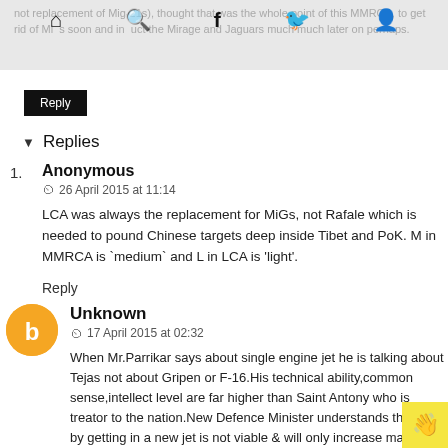not replacement of Mig-21s), thought that was the whole point of this MMRCA, to get rid of MiGs soon and induct the Mirage and Jaguars much much later on perhaps.
Reply
Replies
1. Anonymous
26 April 2015 at 11:14
LCA was always the replacement for MiGs, not Rafale which is needed to pound Chinese targets deep inside Tibet and PoK. M in MMRCA is 'medium' and L in LCA is 'light'.
Reply
Unknown
17 April 2015 at 02:32
When Mr.Parrikar says about single engine jet he is talking about Tejas not about Gripen or F-16.His technical ability,common sense,intellect level are far higher than Saint Antony who is treator to the nation.New Defence Minister understands this that by getting in a new jet is not viable & will only increase mainter & other nuisance attached with it; he is simply refering to g